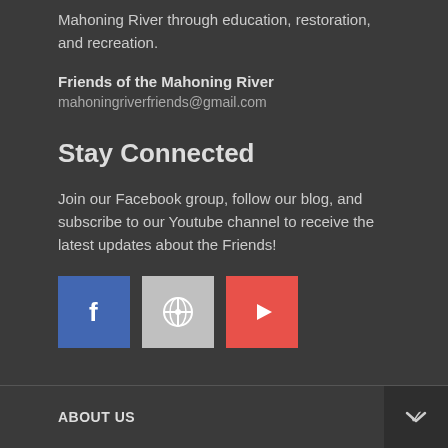Mahoning River through education, restoration, and recreation.
Friends of the Mahoning River
mahoningriverfriends@gmail.com
Stay Connected
Join our Facebook group, follow our blog, and subscribe to our Youtube channel to receive the latest updates about the Friends!
[Figure (illustration): Social media icon buttons: Facebook (blue), WordPress (gray), YouTube (red)]
ABOUT US